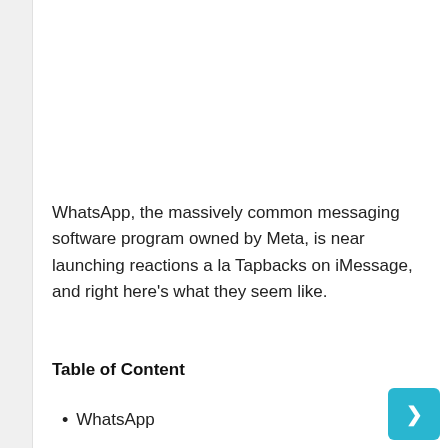WhatsApp, the massively common messaging software program owned by Meta, is near launching reactions a la Tapbacks on iMessage, and right here's what they seem like.
Table of Content
WhatsApp